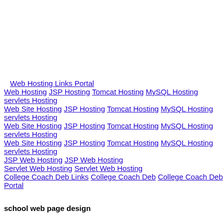Web Hosting Links Portal Web Hosting JSP Hosting Tomcat Hosting MySQL Hosting servlets Hosting Web Site Hosting JSP Hosting Tomcat Hosting MySQL Hosting servlets Hosting Web Site Hosting JSP Hosting Tomcat Hosting MySQL Hosting servlets Hosting Web Site Hosting JSP Hosting Tomcat Hosting MySQL Hosting servlets Hosting JSP Web Hosting JSP Web Hosting Servlet Web Hosting Servlet Web Hosting College Coach Deb Links College Coach Deb College Coach Deb Portal
school web page design